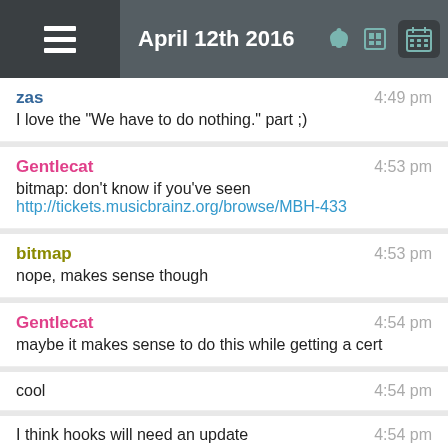April 12th 2016
zas 4:49 pm
I love the "We have to do nothing." part ;)
Gentlecat 4:53 pm
bitmap: don't know if you've seen
http://tickets.musicbrainz.org/browse/MBH-433
bitmap 4:53 pm
nope, makes sense though
Gentlecat 4:54 pm
maybe it makes sense to do this while getting a cert
cool 4:54 pm
I think hooks will need an update 4:54 pm